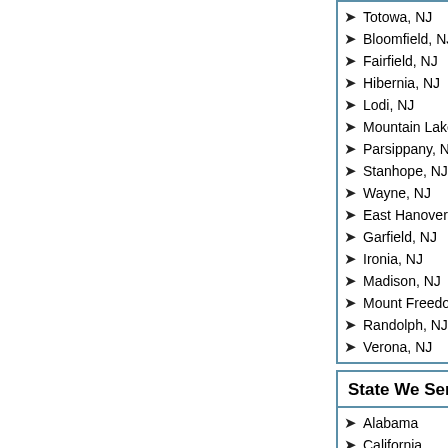Totowa, NJ
Bloomfield, NJ
Fairfield, NJ
Hibernia, NJ
Lodi, NJ
Mountain Lakes, NJ
Parsippany, NJ
Stanhope, NJ
Wayne, NJ
East Hanover, NJ
Garfield, NJ
Ironia, NJ
Madison, NJ
Mount Freedom, NJ
Randolph, NJ
Verona, NJ
State We Serv
Alabama
California
District of Columbia
Hawaii
Indiana
Kentucky
Maryland